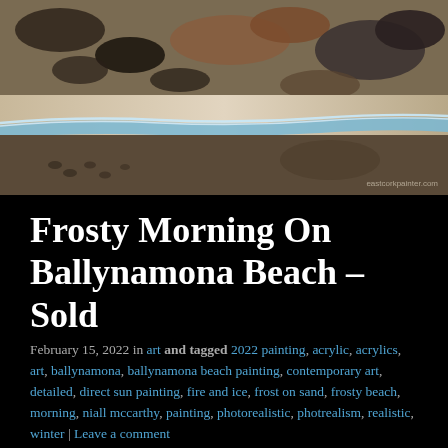[Figure (photo): Aerial or close-up view of a frosty beach painting showing sand, frost/ice patterns, and a wave line with blue-white foam edge. Watermark text 'eastcorkpainter.com' in bottom right.]
Frosty Morning On Ballynamona Beach – Sold
February 15, 2022 in art and tagged 2022 painting, acrylic, acrylics, art, ballynamona, ballynamona beach painting, contemporary art, detailed, direct sun painting, fire and ice, frost on sand, frosty beach, morning, niall mccarthy, painting, photorealistic, photrealism, realistic, winter | Leave a comment
Commission